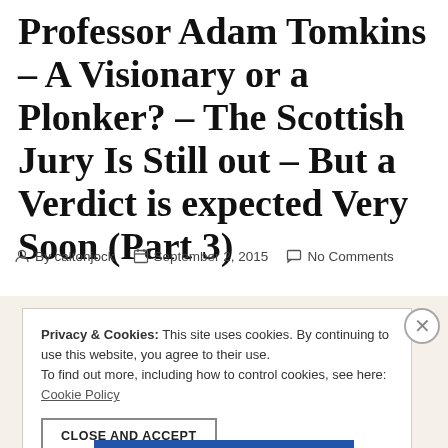Professor Adam Tomkins – A Visionary or a Plonker? – The Scottish Jury Is Still out – But a Verdict is expected Very Soon (Part 3)
By caltonjock   September 2, 2015   No Comments
Privacy & Cookies: This site uses cookies. By continuing to use this website, you agree to their use. To find out more, including how to control cookies, see here: Cookie Policy
CLOSE AND ACCEPT